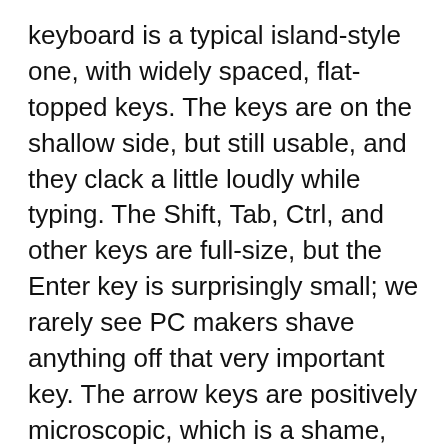keyboard is a typical island-style one, with widely spaced, flat-topped keys. The keys are on the shallow side, but still usable, and they clack a little loudly while typing. The Shift, Tab, Ctrl, and other keys are full-size, but the Enter key is surprisingly small; we rarely see PC makers shave anything off that very important key. The arrow keys are positively microscopic, which is a shame, as they also control the speaker volume via an alternate Fn-key mapping, and there are equally tiny Page Up and Page Down keys in the same lower-right corner of the keyboard.
The touch pad is larger than most Windows laptop examples, but still not as big as what's